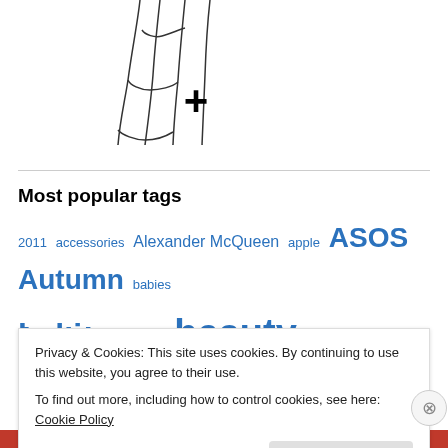[Figure (illustration): Partial illustration of a fashion figure (lower body/legs) with a bold plus sign (+) overlaid, on white background]
Most popular tags
2011 accessories Alexander McQueen apple ASOS Autumn babies baking beach beauty beige blouse BRAI cake collection cooking
Privacy & Cookies: This site uses cookies. By continuing to use this website, you agree to their use.
To find out more, including how to control cookies, see here: Cookie Policy
Close and accept